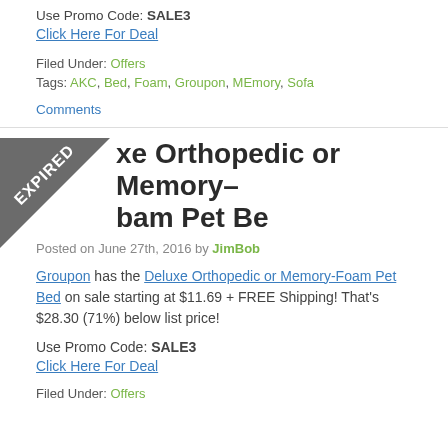Use Promo Code: SALE3
Click Here For Deal
Filed Under: Offers
Tags: AKC, Bed, Foam, Groupon, MEmory, Sofa
Comments
Deluxe Orthopedic or Memory-Foam Pet Be
Posted on June 27th, 2016 by JimBob
Groupon has the Deluxe Orthopedic or Memory-Foam Pet Bed on sale starting at $11.69 + FREE Shipping! That's $28.30 (71%) below list price!
Use Promo Code: SALE3
Click Here For Deal
Filed Under: Offers